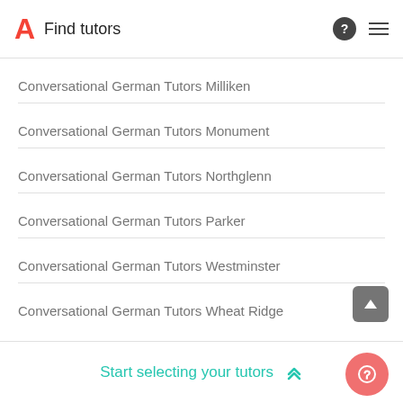Find tutors
Conversational German Tutors Milliken
Conversational German Tutors Monument
Conversational German Tutors Northglenn
Conversational German Tutors Parker
Conversational German Tutors Westminster
Conversational German Tutors Wheat Ridge
Start selecting your tutors